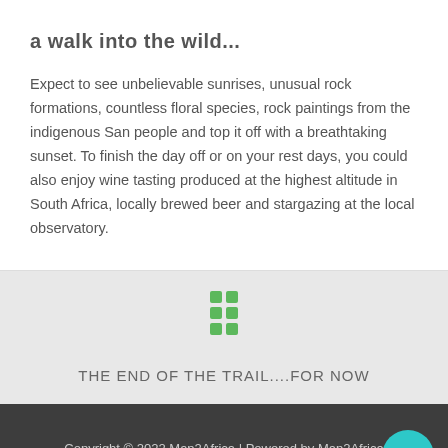a walk into the wild...
Expect to see unbelievable sunrises, unusual rock formations, countless floral species, rock paintings from the indigenous San people and top it off with a breathtaking sunset. To finish the day off or on your rest days, you could also enjoy wine tasting produced at the highest altitude in South Africa, locally brewed beer and stargazing at the local observatory.
[Figure (illustration): Green grid icon composed of 6 small green squares in a 2x3 arrangement]
THE END OF THE TRAIL....FOR NOW
Copyright © 2022 Map2Africa | Powered by Map2Africa